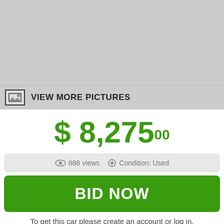[Figure (photo): Gray placeholder image area for car photos]
VIEW MORE PICTURES
$ 8,275 00
886 views  Condition: Used
BID NOW
To get this car please create an account or log in.
REGISTER
LOGIN